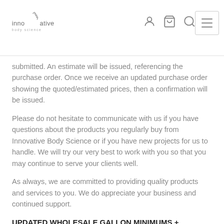Innovative Body Science — navigation header with logo and icons
submitted. An estimate will be issued, referencing the purchase order. Once we receive an updated purchase order showing the quoted/estimated prices, then a confirmation will be issued.
Please do not hesitate to communicate with us if you have questions about the products you regularly buy from Innovative Body Science or if you have new projects for us to handle. We will try our very best to work with you so that you may continue to serve your clients well.
As always, we are committed to providing quality products and services to you. We do appreciate your business and continued support.
UPDATED WHOLESALE GALLON MINIMUMS + VOLUME